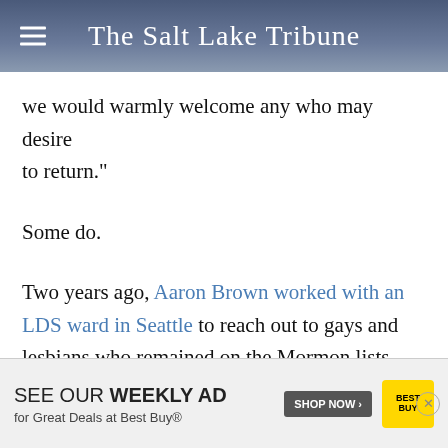The Salt Lake Tribune
we would warmly welcome any who may desire to return."
Some do.
Two years ago, Aaron Brown worked with an LDS ward in Seattle to reach out to gays and lesbians who remained on the Mormon lists, some of whom rarely attended services. Local lea... me... just love
[Figure (advertisement): Best Buy advertisement: SEE OUR WEEKLY AD for Great Deals at Best Buy® with SHOP NOW button and Best Buy logo]